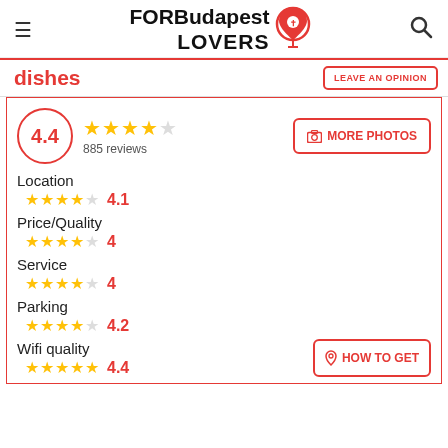FOR Budapest LOVERS
dishes
LEAVE AN OPINION
4.4 — 885 reviews
MORE PHOTOS
Location
4.1
Price/Quality
4
Service
4
Parking
4.2
Wifi quality
4.4
HOW TO GET